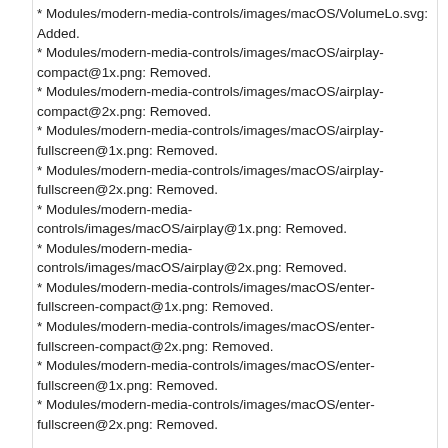* Modules/modern-media-controls/images/macOS/VolumeLo.svg: Added.
* Modules/modern-media-controls/images/macOS/airplay-compact@1x.png: Removed.
* Modules/modern-media-controls/images/macOS/airplay-compact@2x.png: Removed.
* Modules/modern-media-controls/images/macOS/airplay-fullscreen@1x.png: Removed.
* Modules/modern-media-controls/images/macOS/airplay-fullscreen@2x.png: Removed.
* Modules/modern-media-controls/images/macOS/airplay@1x.png: Removed.
* Modules/modern-media-controls/images/macOS/airplay@2x.png: Removed.
* Modules/modern-media-controls/images/macOS/enter-fullscreen-compact@1x.png: Removed.
* Modules/modern-media-controls/images/macOS/enter-fullscreen-compact@2x.png: Removed.
* Modules/modern-media-controls/images/macOS/enter-fullscreen@1x.png: Removed.
* Modules/modern-media-controls/images/macOS/enter-fullscreen@2x.png: Removed.